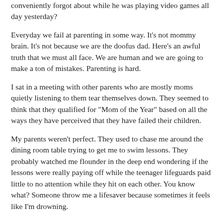conveniently forgot about while he was playing video games all day yesterday?
Everyday we fail at parenting in some way. It's not mommy brain. It's not because we are the doofus dad. Here's an awful truth that we must all face. We are human and we are going to make a ton of mistakes. Parenting is hard.
I sat in a meeting with other parents who are mostly moms quietly listening to them tear themselves down. They seemed to think that they qualified for "Mom of the Year" based on all the ways they have perceived that they have failed their children.
My parents weren't perfect. They used to chase me around the dining room table trying to get me to swim lessons. They probably watched me flounder in the deep end wondering if the lessons were really paying off while the teenager lifeguards paid little to no attention while they hit on each other. You know what? Someone throw me a lifesaver because sometimes it feels like I'm drowning.